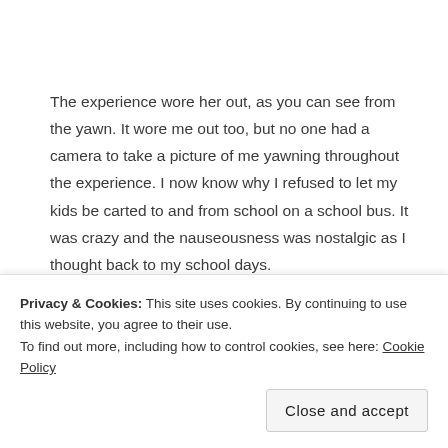The experience wore her out, as you can see from the yawn. It wore me out too, but no one had a camera to take a picture of me yawning throughout the experience. I now know why I refused to let my kids be carted to and from school on a school bus. It was crazy and the nauseousness was nostalgic as I thought back to my school days.
Privacy & Cookies: This site uses cookies. By continuing to use this website, you agree to their use.
To find out more, including how to control cookies, see here: Cookie Policy
Close and accept